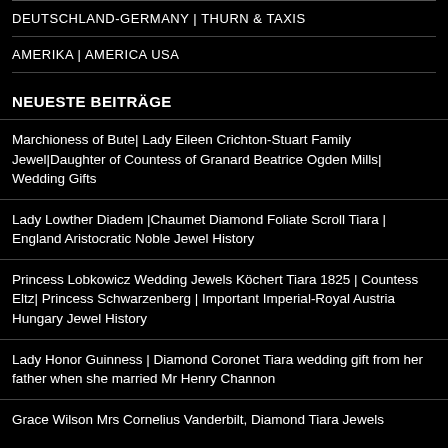DEUTSCHLAND-GERMANY | THURN & TAXIS
AMERIKA | AMERICA USA
NEUESTE BEITRÄGE
Marchioness of Bute| Lady Eileen Crichton-Stuart Family Jewel|Daughter of Countess of Granard Beatrice Ogden Mills| Wedding Gifts
Lady Lowther Diadem |Chaumet Diamond Foliate Scroll Tiara | England Aristocratic Noble Jewel History
Princess Lobkowicz Wedding Jewels Köchert Tiara 1825 | Countess Eltz| Princess Schwarzenberg | Important Imperial-Royal Austria Hungary Jewel History
Lady Honor Guinness | Diamond Coronet Tiara wedding gift from her father when she married Mr Henry Channon
Grace Wilson Mrs Cornelius Vanderbilt, Diamond Tiara Jewels